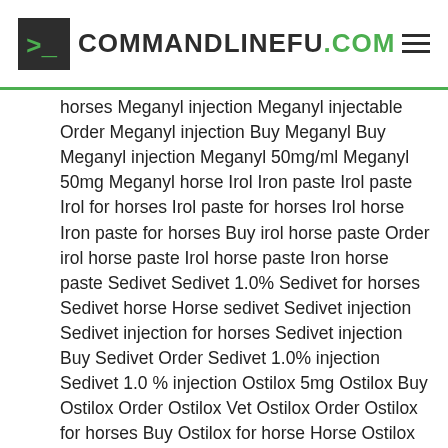COMMANDLINEFU.COM
horses Meganyl injection Meganyl injectable Order Meganyl injection Buy Meganyl Buy Meganyl injection Meganyl 50mg/ml Meganyl 50mg Meganyl horse Irol Iron paste Irol paste Irol for horses Irol paste for horses Irol horse Iron paste for horses Buy irol horse paste Order irol horse paste Irol horse paste Iron horse paste Sedivet Sedivet 1.0% Sedivet for horses Sedivet horse Horse sedivet Sedivet injection Sedivet injection for horses Sedivet injection Buy Sedivet Order Sedivet 1.0% injection Sedivet 1.0 % injection Ostilox 5mg Ostilox Buy Ostilox Order Ostilox Vet Ostilox Order Ostilox for horses Buy Ostilox for horse Horse Ostilox Horse Ostilox 5mg 5mg Ostilox Ostilox injection Ostilox Predef 2x Buy Predef 2x Order Predef 2x Buy Predef 2x Predef 2x for horses Buy Predef 2x for horses Order Predef Buy Predef 2x Preded 2x for horses Solodex Solodex injection